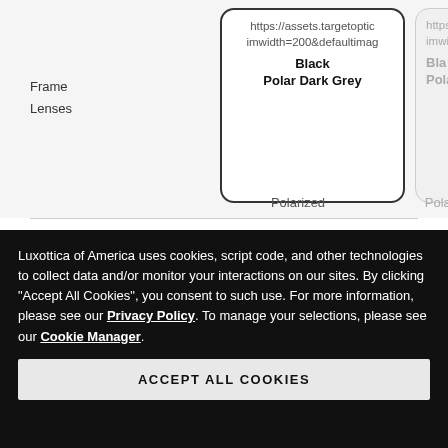Frame
Lenses
[Figure (screenshot): Product card showing image URL and lens details: Black, Polar Dark Grey, Polarized]
[Figure (screenshot): Partially visible second product card with same details in greyed out style]
Extra Large
Size guide
Apply insurance
Add your insurance to take advantage of your vision benefits.
FRAME
$228.00
Luxottica of America uses cookies, script code, and other technologies to collect data and/or monitor your interactions on our sites. By clicking "Accept All Cookies", you consent to such use. For more information, please see our Privacy Policy. To manage your selections, please see our Cookie Manager.
ACCEPT ALL COOKIES